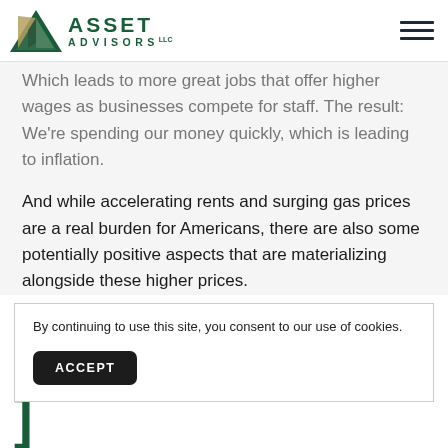ASSET ADVISORS LLC
Which leads to more great jobs that offer higher wages as businesses compete for staff. The result: We're spending our money quickly, which is leading to inflation.
And while accelerating rents and surging gas prices are a real burden for Americans, there are also some potentially positive aspects that are materializing alongside these higher prices.
By continuing to use this site, you consent to our use of cookies.